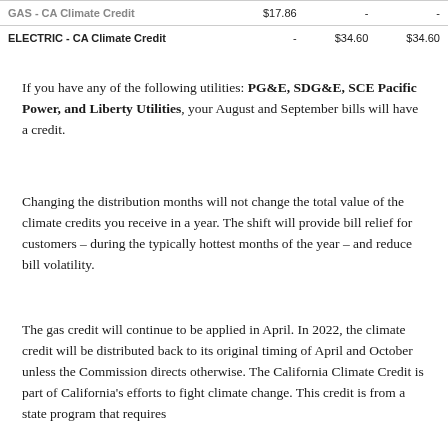|  |  |  |  |
| --- | --- | --- | --- |
| GAS - CA Climate Credit | $17.86 | - | - |
| ELECTRIC - CA Climate Credit | - | $34.60 | $34.60 |
If you have any of the following utilities: PG&E, SDG&E, SCE Pacific Power, and Liberty Utilities, your August and September bills will have a credit.
Changing the distribution months will not change the total value of the climate credits you receive in a year. The shift will provide bill relief for customers – during the typically hottest months of the year – and reduce bill volatility.
The gas credit will continue to be applied in April. In 2022, the climate credit will be distributed back to its original timing of April and October unless the Commission directs otherwise. The California Climate Credit is part of California's efforts to fight climate change. This credit is from a state program that requires